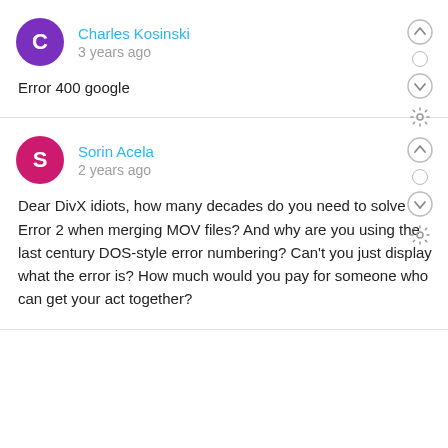Charles Kosinski
3 years ago
Error 400 google
Sorin Acela
2 years ago
Dear DivX idiots, how many decades do you need to solve Error 2 when merging MOV files? And why are you using the last century DOS-style error numbering? Can't you just display what the error is? How much would you pay for someone who can get your act together?